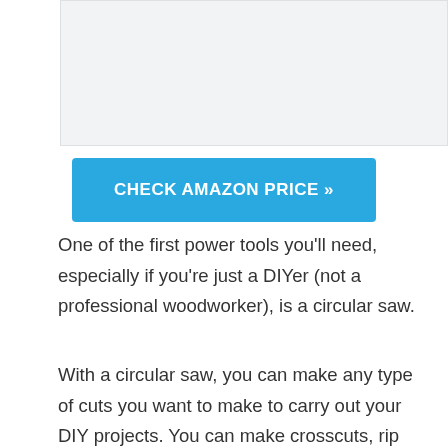[Figure (photo): Product image placeholder area (light gray background)]
CHECK AMAZON PRICE »
One of the first power tools you'll need, especially if you're just a DIYer (not a professional woodworker), is a circular saw.
With a circular saw, you can make any type of cuts you want to make to carry out your DIY projects. You can make crosscuts, rip cuts and